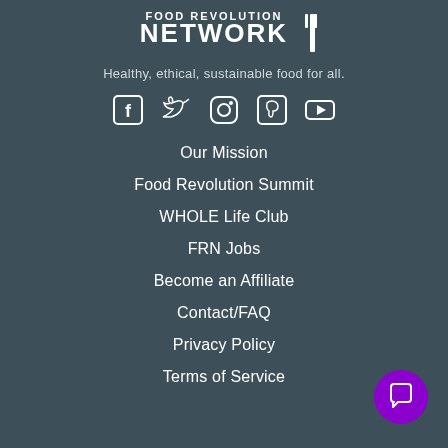[Figure (logo): Food Revolution Network logo with text NETWORK and a fork icon]
Healthy, ethical, sustainable food for all.
[Figure (infographic): Social media icons: Facebook, Twitter, Instagram, Pinterest, YouTube]
Our Mission
Food Revolution Summit
WHOLE Life Club
FRN Jobs
Become an Affiliate
Contact/FAQ
Privacy Policy
Terms of Service